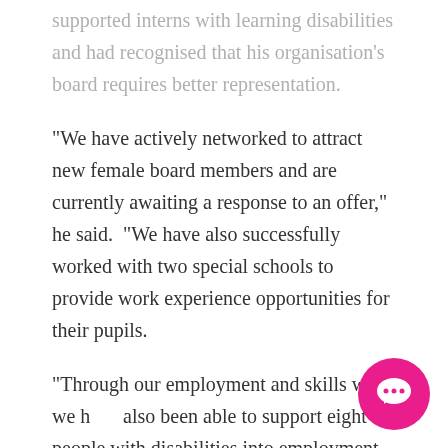supported interns with learning disabilities and had recognised that his organisation's board requires better representation.
“We have actively networked to attract new female board members and are currently awaiting a response to an offer,” he said.  “We have also successfully worked with two special schools to provide work experience opportunities for their pupils.
“Through our employment and skills work we have also been able to support eight people with disabilities into employment with partner
[Figure (illustration): Pink circular chat/message bubble icon with a white speech bubble symbol inside, positioned in the bottom-right corner of the page.]